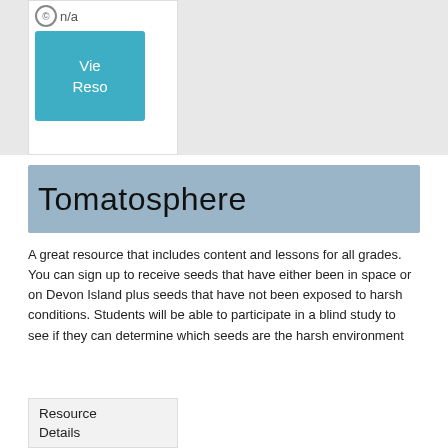[Figure (screenshot): Top section with gray background showing a white card with 'n/a' label, a teal 'View Resource' button partially visible]
Tomatosphere
A great resource that includes content and lessons for all grades. You can sign up to receive seeds that have either been in space or on Devon Island plus seeds that have not been exposed to harsh conditions. Students will be able to participate in a blind study to see if they can determine which seeds are the harsh environment
Resource Details